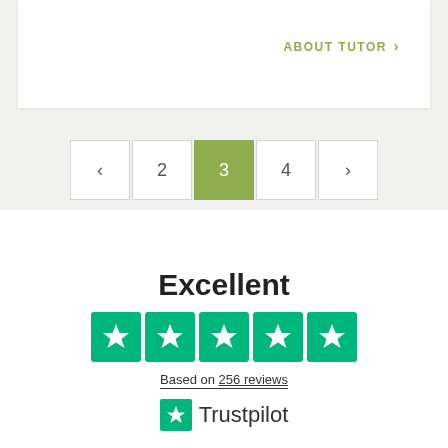ABOUT TUTOR >
[Figure (other): Pagination controls showing previous arrow, page 2, page 3 (active/highlighted in green), page 4, and next arrow]
Excellent
[Figure (other): Trustpilot 5-star rating display with 5 green star boxes]
Based on 256 reviews
[Figure (logo): Trustpilot logo with green star icon and Trustpilot wordmark]